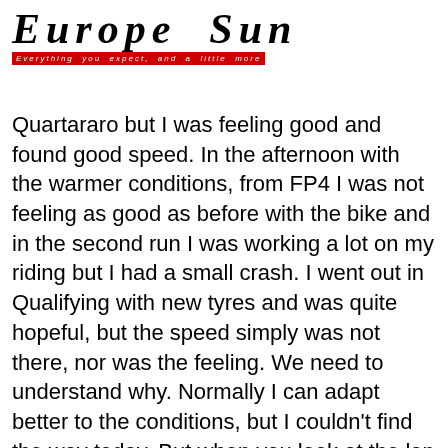Europe Sun — Everything you expect, and a little more
Quartararo but I was feeling good and found good speed. In the afternoon with the warmer conditions, from FP4 I was not feeling as good as before with the bike and in the second run I was working a lot on my riding but I had a small crash. I went out in Qualifying with new tyres and was quite hopeful, but the speed simply was not there, nor was the feeling. We need to understand why. Normally I can adapt better to the conditions, but I couldn't find the way today. But when you look at the lap chart, our rhythm is not that far and I think we can be fighting in the second group." Honda rider Marc Marquez.
"Today was a tough day, especially when the temperature rises because we struggled to match our speed from the morning. In the morning I was able to pass into Q2, even after the crash and